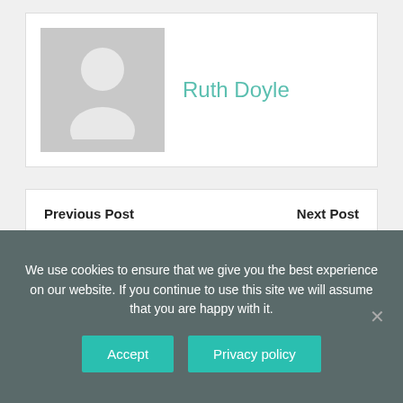[Figure (illustration): Author profile card with grey avatar placeholder silhouette and name 'Ruth Doyle' in teal]
Ruth Doyle
Previous Post
Next Post
‹ What is the definition of collaboration in science?
How to put a low speed fan on a Chevy Tahoe? ›
We use cookies to ensure that we give you the best experience on our website. If you continue to use this site we will assume that you are happy with it.
Accept
Privacy policy